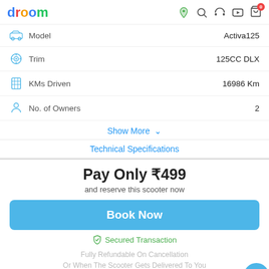droom
Model: Activa125
Trim: 125CC DLX
KMs Driven: 16986 Km
No. of Owners: 2
Show More
Technical Specifications
Pay Only ₹499
and reserve this scooter now
Book Now
Secured Transaction
Fully Refundable On Cancellation
Or When The Scooter Gets Delivered To You